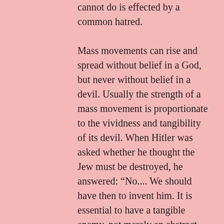cannot do is effected by a common hatred.

Mass movements can rise and spread without belief in a God, but never without belief in a devil. Usually the strength of a mass movement is proportionate to the vividness and tangibility of its devil. When Hitler was asked whether he thought the Jew must be destroyed, he answered: “No.... We should have then to invent him. It is essential to have a tangible enemy, not merely an abstract one.” F.A. Voigt tells of a Japanese mission that arrived in Berlin in 1932 to study the National Socialist movement. Voigt asked a